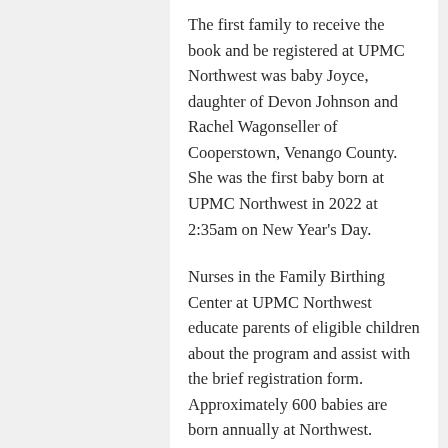The first family to receive the book and be registered at UPMC Northwest was baby Joyce, daughter of Devon Johnson and Rachel Wagonseller of Cooperstown, Venango County. She was the first baby born at UPMC Northwest in 2022 at 2:35am on New Year's Day.
Nurses in the Family Birthing Center at UPMC Northwest educate parents of eligible children about the program and assist with the brief registration form. Approximately 600 babies are born annually at Northwest.